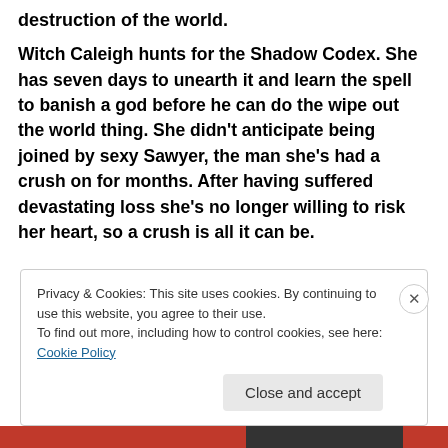destruction of the world.
Witch Caleigh hunts for the Shadow Codex. She has seven days to unearth it and learn the spell to banish a god before he can do the wipe out the world thing. She didn't anticipate being joined by sexy Sawyer, the man she's had a crush on for months. After having suffered devastating loss she's no longer willing to risk her heart, so a crush is all it can be.
Privacy & Cookies: This site uses cookies. By continuing to use this website, you agree to their use.
To find out more, including how to control cookies, see here: Cookie Policy
Close and accept